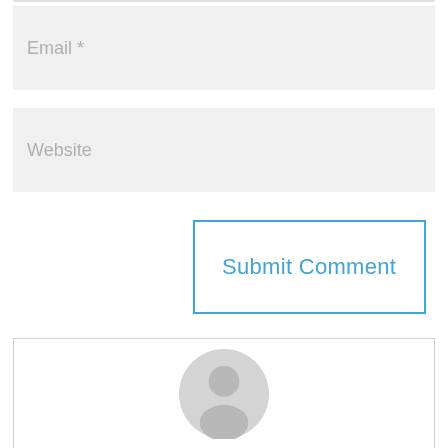[Figure (screenshot): Email input field with placeholder text 'Email *' on a light gray background]
[Figure (screenshot): Website input field with placeholder text 'Website' on a light gray background]
[Figure (screenshot): Submit Comment button with blue border and blue text on white background]
[Figure (illustration): Generic user avatar icon inside a bordered box — gray circle with person silhouette]